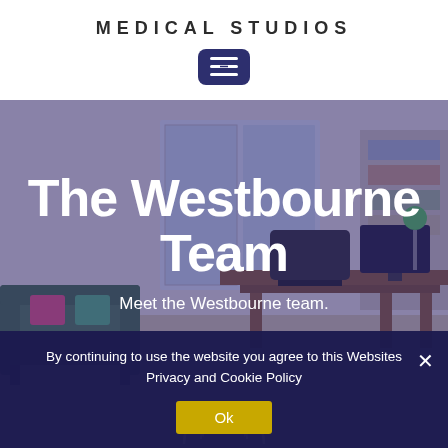MEDICAL STUDIOS
[Figure (screenshot): Dark navy rounded rectangle button with horizontal menu/filter lines icon (hamburger with center line decorated)]
[Figure (photo): Hero image of a medical office room with chairs, desk, bookshelf, purple-blue overlay tint. Contains large white text 'The Westbourne Team' and subtitle 'Meet the Westbourne team.' with a partial circular icon at bottom.]
The Westbourne Team
Meet the Westbourne team.
By continuing to use the website you agree to this Websites Privacy and Cookie Policy